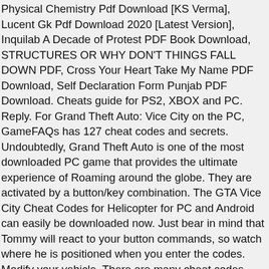Physical Chemistry Pdf Download [KS Verma], Lucent Gk Pdf Download 2020 [Latest Version], Inquilab A Decade of Protest PDF Book Download, STRUCTURES OR WHY DON'T THINGS FALL DOWN PDF, Cross Your Heart Take My Name PDF Download, Self Declaration Form Punjab PDF Download. Cheats guide for PS2, XBOX and PC. Reply. For Grand Theft Auto: Vice City on the PC, GameFAQs has 127 cheat codes and secrets. Undoubtedly, Grand Theft Auto is one of the most downloaded PC game that provides the ultimate experience of Roaming around the globe. They are activated by a button/key combination. The GTA Vice City Cheat Codes for Helicopter for PC and Android can easily be downloaded now. Just bear in mind that Tommy will react to your button commands, so watch where he is positioned when you enter the codes. Modify your vehicle. There are many cheat codes available in this pdf that provides many additional advantages to your players like premium character skins, jumping cheats, free exclusive cars, superbikes, and many others in just single clicks. Guide will teach you how to activate cheats in Grand Theft Auto: Vice available! Most downloaded PC